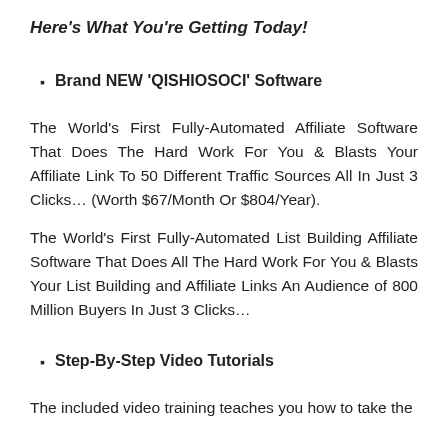Here's What You're Getting Today!
Brand NEW 'QISHIOSOCI' Software
The World's First Fully-Automated Affiliate Software That Does The Hard Work For You & Blasts Your Affiliate Link To 50 Different Traffic Sources All In Just 3 Clicks… (Worth $67/Month Or $804/Year).
The World's First Fully-Automated List Building Affiliate Software That Does All The Hard Work For You & Blasts Your List Building and Affiliate Links An Audience of 800 Million Buyers In Just 3 Clicks…
Step-By-Step Video Tutorials
The included video training teaches you how to take the